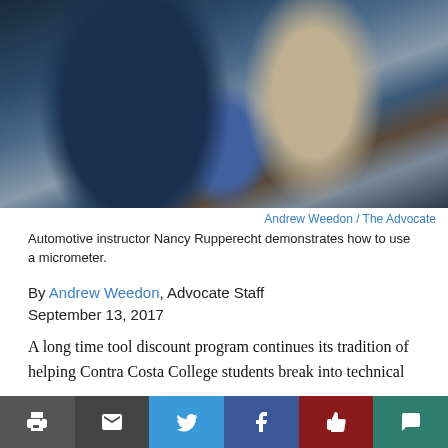[Figure (photo): Automotive instructor Nancy Rupperecht demonstrating how to use a micrometer to students in a classroom/workshop setting. She is wearing a blue top and blue gloves, holding a measurement tool, with a young male student in a grey t-shirt watching.]
Andrew Weedon / The Advocate
Automotive instructor Nancy Rupperecht demonstrates how to use a micrometer.
By Andrew Weedon, Advocate Staff
September 13, 2017
A long time tool discount program continues its tradition of helping Contra Costa College students break into technical